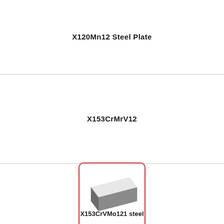X120Mn12 Steel Plate
X153CrMrV12
[Figure (photo): Photo of a steel plate with a light silver top surface and dark grey side face, shown in perspective view with a red rounded-rectangle border.]
X153CrVMo121 steel